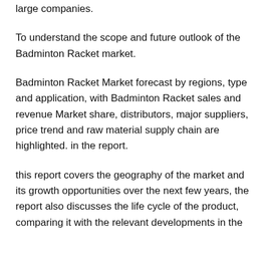large companies.
To understand the scope and future outlook of the Badminton Racket market.
Badminton Racket Market forecast by regions, type and application, with Badminton Racket sales and revenue Market share, distributors, major suppliers, price trend and raw material supply chain are highlighted. in the report.
this report covers the geography of the market and its growth opportunities over the next few years, the report also discusses the life cycle of the product, comparing it with the relevant developments in the